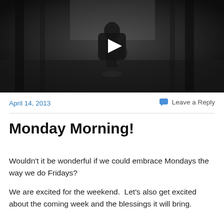[Figure (screenshot): Video thumbnail showing a person playing acoustic guitar in a dark room with a play button overlay]
April 14, 2013
Leave a Reply
Monday Morning!
Wouldn't it be wonderful if we could embrace Mondays the way we do Fridays?
We are excited for the weekend.  Let's also get excited about the coming week and the blessings it will bring.